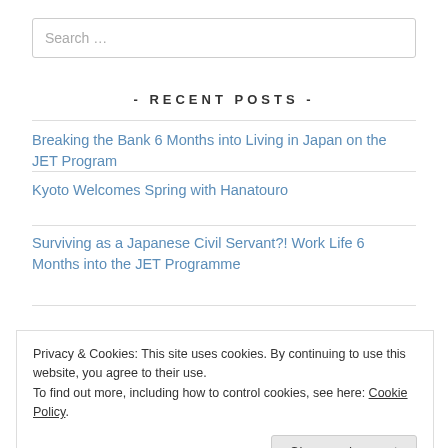Search …
- RECENT POSTS -
Breaking the Bank 6 Months into Living in Japan on the JET Program
Kyoto Welcomes Spring with Hanatouro
Surviving as a Japanese Civil Servant?! Work Life 6 Months into the JET Programme
Surviving the JET Programme: 6 months in
Privacy & Cookies: This site uses cookies. By continuing to use this website, you agree to their use. To find out more, including how to control cookies, see here: Cookie Policy
Close and accept